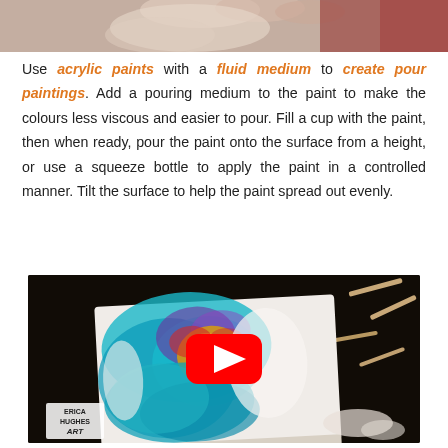[Figure (photo): Close-up photo of hands working with paint, showing fingers and red/white fabric in background]
Use acrylic paints with a fluid medium to create pour paintings. Add a pouring medium to the paint to make the colours less viscous and easier to pour. Fill a cup with the paint, then when ready, pour the paint onto the surface from a height, or use a squeeze bottle to apply the paint in a controlled manner. Tilt the surface to help the paint spread out evenly.
[Figure (screenshot): YouTube video thumbnail showing a colorful acrylic pour painting on a canvas with teal, orange, purple and red colors. A red YouTube play button is centered over the image. Bottom-left shows 'Erica Hughes Art' logo watermark. Dark background with popsicle sticks scattered around.]